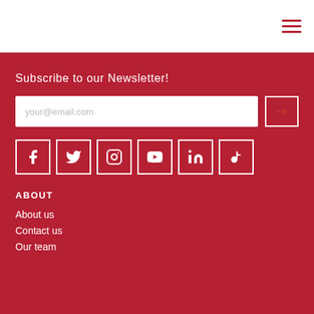[Figure (other): Hamburger menu icon (three horizontal lines) in top-right corner]
Subscribe to our Newsletter!
[Figure (other): Email input field with placeholder 'your@email.com' and submit arrow button]
[Figure (other): Social media icons row: Facebook, Twitter, Instagram, YouTube, LinkedIn, TikTok]
ABOUT
About us
Contact us
Our team